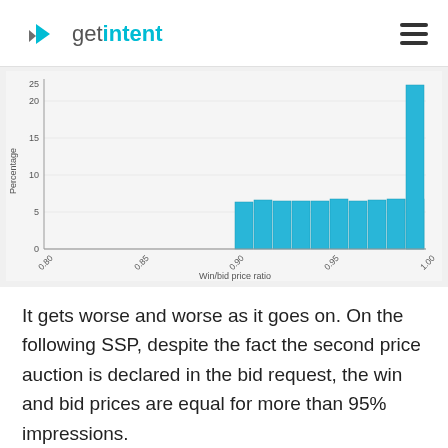getintent
[Figure (histogram): ]
It gets worse and worse as it goes on. On the following SSP, despite the fact the second price auction is declared in the bid request, the win and bid prices are equal for more than 95% impressions.